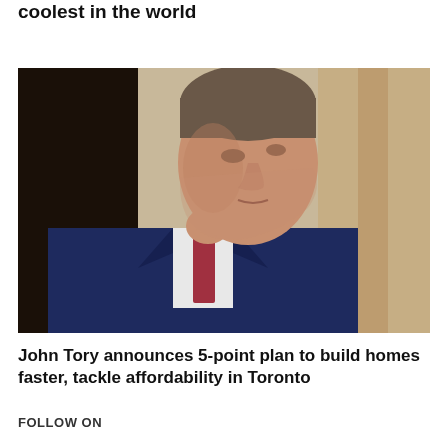This Toronto neighbourhood has been named one of the coolest in the world
[Figure (photo): Photograph of John Tory, a man in a dark navy suit with a patterned red tie, shown from shoulders up in profile/three-quarter view, grey-brown background with curtains]
John Tory announces 5-point plan to build homes faster, tackle affordability in Toronto
FOLLOW ON